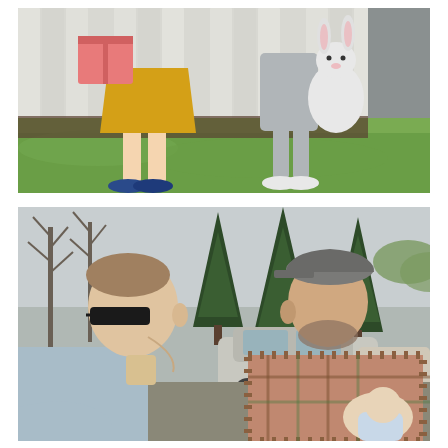[Figure (photo): Two children outdoors on grass in front of a white wooden fence. One child on the left wears a yellow skirt and blue glitter flats and holds a pink gift box. The other child on the right wears gray overalls and white sneakers and holds a stuffed white bunny/rabbit plush toy.]
[Figure (photo): Two adult men outdoors near evergreen trees and parked cars on an overcast day. The man on the left wears sunglasses and a light blue shirt. The man on the right wears a plaid shirt and a gray baseball cap and is holding a baby/infant. Both men appear to be looking to the right.]